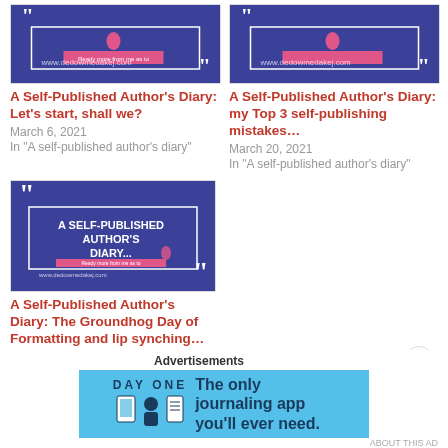[Figure (illustration): Blue decorative blog thumbnail with quote marks and pink banner, top-left]
A Self-Published Author's Diary: Let's start, shall we?
March 6, 2021
In "A self-published author's diary"
[Figure (illustration): Blue decorative blog thumbnail with quote marks and pink banner, top-right]
A Self-Published Author's Diary: my Top 3 self-publishing mistakes…
March 20, 2021
In "A self-published author's diary"
[Figure (illustration): Blue decorative blog thumbnail with quote marks and pink banner, bottom-left large]
A Self-Published Author's Diary: The Groundhog Day of Formatting and lip synching…
March 27, 2021
Advertisements
[Figure (illustration): Day One journaling app advertisement banner with light blue background]